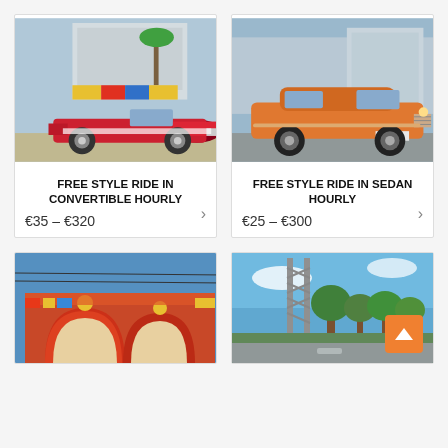[Figure (photo): Red classic convertible car parked in front of a colorful building in Cuba]
FREE STYLE RIDE IN CONVERTIBLE HOURLY
€35 – €320
[Figure (photo): Orange classic sedan car parked on a street in Cuba]
FREE STYLE RIDE IN SEDAN HOURLY
€25 – €300
[Figure (photo): Colorful ornate gate or arcade building with red arches]
[Figure (photo): Road with trees and a metal structure or tower in background]